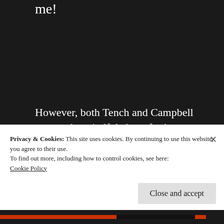me!
However, both Tench and Campbell want to be mindful about further releases to make sure the quality is right and Petty would have wanted to release the material. Adria Petty agrees. “I don’t want to inundate the fans with “H...
Privacy & Cookies: This site uses cookies. By continuing to use this website, you agree to their use.
To find out more, including how to control cookies, see here:
Cookie Policy
Close and accept